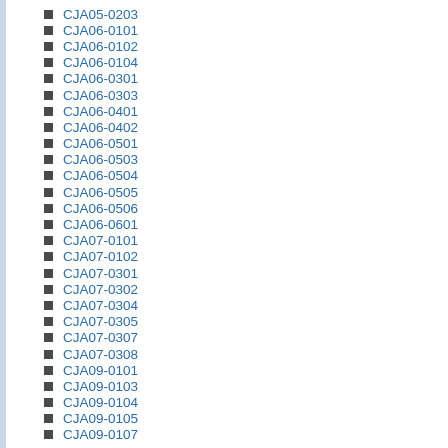CJA05-0203
CJA06-0101
CJA06-0102
CJA06-0104
CJA06-0301
CJA06-0303
CJA06-0401
CJA06-0402
CJA06-0501
CJA06-0503
CJA06-0504
CJA06-0505
CJA06-0506
CJA06-0601
CJA07-0101
CJA07-0102
CJA07-0301
CJA07-0302
CJA07-0304
CJA07-0305
CJA07-0307
CJA07-0308
CJA09-0101
CJA09-0103
CJA09-0104
CJA09-0105
CJA09-0107